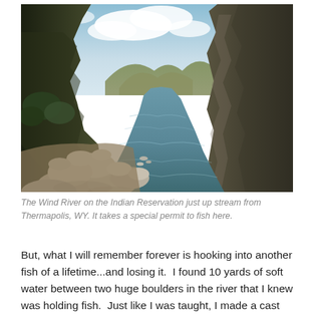[Figure (photo): A photograph of the Wind River flowing through a rocky canyon with steep cliff walls on both sides, large boulders along the near shore, and mountains visible in the background under a partly cloudy sky. The river water is greenish-blue.]
The Wind River on the Indian Reservation just up stream from Thermapolis, WY. It takes a special permit to fish here.
But, what I will remember forever is hooking into another fish of a lifetime...and losing it.  I found 10 yards of soft water between two huge boulders in the river that I knew was holding fish.  Just like I was taught, I made a cast right on the seam, mended,  got a